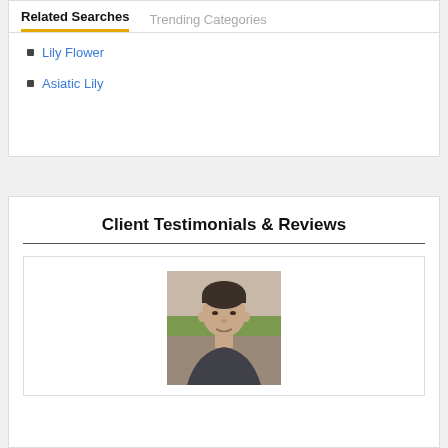Related Searches
Trending Categories
Lily Flower
Asiatic Lily
Client Testimonials & Reviews
[Figure (photo): Portrait photo of a middle-aged man with dark hair, wearing a dark shirt, standing outdoors with greenery in the background]